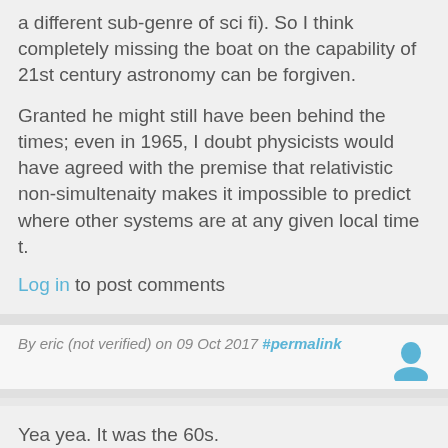a different sub-genre of sci fi). So I think completely missing the boat on the capability of 21st century astronomy can be forgiven.
Granted he might still have been behind the times; even in 1965, I doubt physicists would have agreed with the premise that relativistic non-simultenaity makes it impossible to predict where other systems are at any given local time t.
Log in to post comments
By eric (not verified) on 09 Oct 2017 #permalink
Yea yea. It was the 60s.
To conquer space travel you have to get high.
OK. Dude. Cool. Live long and procreate.
But back then i was reading Asimov, Aldiss, Niven and Clarke. Non of this bullshit!!!